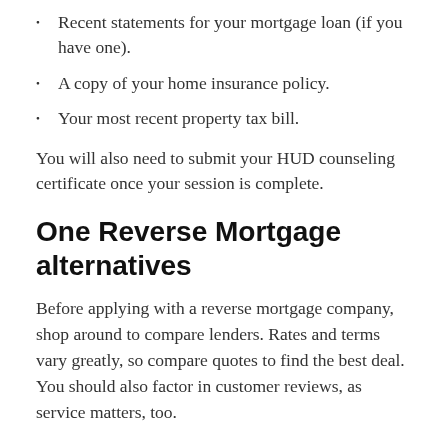Recent statements for your mortgage loan (if you have one).
A copy of your home insurance policy.
Your most recent property tax bill.
You will also need to submit your HUD counseling certificate once your session is complete.
One Reverse Mortgage alternatives
Before applying with a reverse mortgage company, shop around to compare lenders. Rates and terms vary greatly, so compare quotes to find the best deal. You should also factor in customer reviews, as service matters, too.